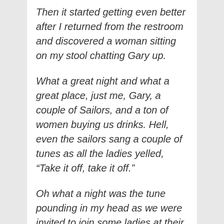Then it started getting even better after I returned from the restroom and discovered a woman sitting on my stool chatting Gary up.
What a great night and what a great place, just me, Gary, a couple of Sailors, and a ton of women buying us drinks. Hell, even the sailors sang a couple of tunes as all the ladies yelled, “Take it off, take it off.”
Oh what a night was the tune pounding in my head as we were invited to join some ladies at their table. I don’t remember much after that but